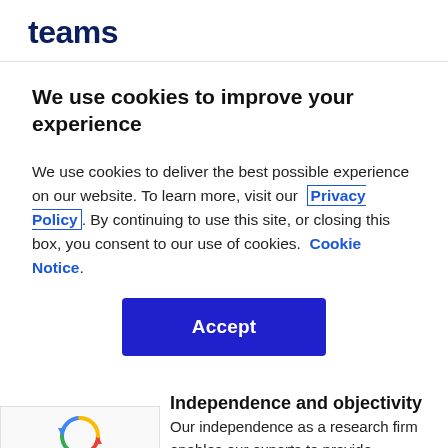teams
We use cookies to improve your experience
We use cookies to deliver the best possible experience on our website. To learn more, visit our  Privacy Policy . By continuing to use this site, or closing this box, you consent to our use of cookies.  Cookie Notice .
[Figure (other): Accept button - a large blue rectangular button with white bold text reading 'Accept']
Independence and objectivity
Our independence as a research firm enables our experts to provide unbiased
[Figure (other): reCAPTCHA widget showing recycling arrows logo with text 'Privacy - Terms']